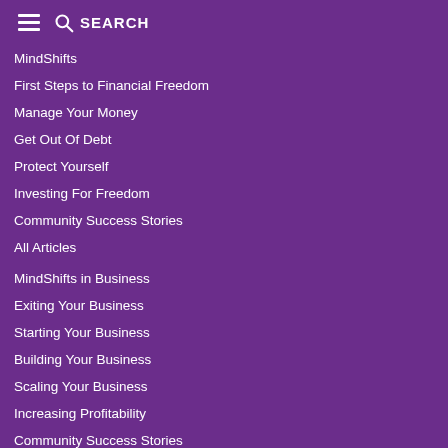SEARCH
MindShifts
First Steps to Financial Freedom
Manage Your Money
Get Out Of Debt
Protect Yourself
Investing For Freedom
Community Success Stories
All Articles
MindShifts in Business
Exiting Your Business
Starting Your Business
Building Your Business
Scaling Your Business
Increasing Profitability
Community Success Stories